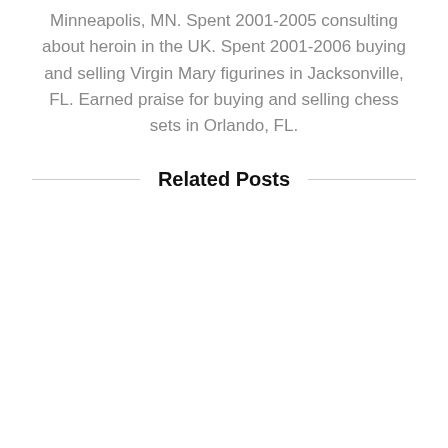Minneapolis, MN. Spent 2001-2005 consulting about heroin in the UK. Spent 2001-2006 buying and selling Virgin Mary figurines in Jacksonville, FL. Earned praise for buying and selling chess sets in Orlando, FL.
Related Posts